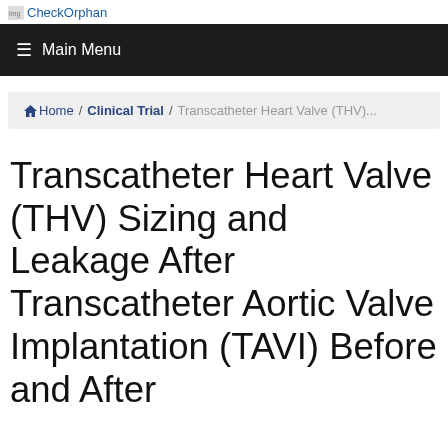CheckOrphan
≡ Main Menu
Home / Clinical Trial / Transcatheter Heart Valve (THV)...
Transcatheter Heart Valve (THV) Sizing and Leakage After Transcatheter Aortic Valve Implantation (TAVI) Before and After